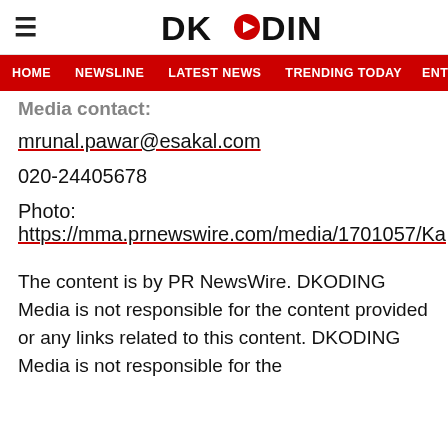DKODING
HOME   NEWSLINE   LATEST NEWS   TRENDING TODAY   ENT
Media contact:
mrunal.pawar@esakal.com
020-24405678
Photo:
https://mma.prnewswire.com/media/1701057/Ka
The content is by PR NewsWire. DKODING Media is not responsible for the content provided or any links related to this content. DKODING Media is not responsible for the